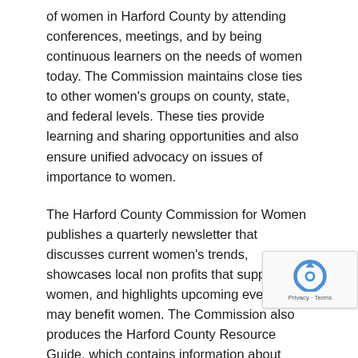of women in Harford County by attending conferences, meetings, and by being continuous learners on the needs of women today. The Commission maintains close ties to other women's groups on county, state, and federal levels. These ties provide learning and sharing opportunities and also ensure unified advocacy on issues of importance to women.
The Harford County Commission for Women publishes a quarterly newsletter that discusses current women's trends, showcases local non profits that support women, and highlights upcoming events that may benefit women. The Commission also produces the Harford County Resource Guide, which contains information about organizations in the county that serve women and families and lists contact information as well as accessibility to services.
The Commission hosts a yearly recognition program, the Women of Tomorrow awards, for young ladies in